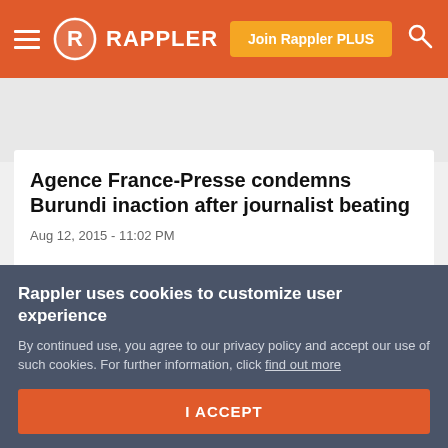Rappler — Join Rappler PLUS
Agence France-Presse condemns Burundi inaction after journalist beating
Aug 12, 2015 - 11:02 PM
The violent aggression against our correspondent recognized and respected by the entire profession on the African continent cannot go unpunished
Rappler uses cookies to customize user experience
By continued use, you agree to our privacy policy and accept our use of such cookies. For further information, click find out more
I ACCEPT